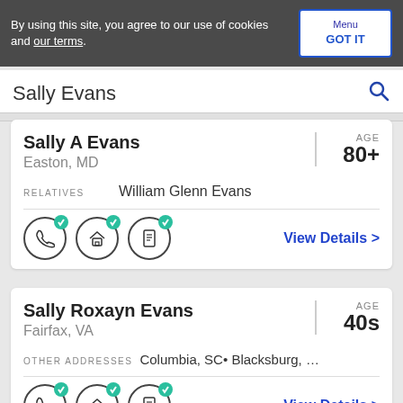By using this site, you agree to our use of cookies and our terms.
Menu GOT IT
Sally Evans
Sally A Evans
Easton, MD
AGE 80+
RELATIVES William Glenn Evans
View Details >
Sally Roxayn Evans
Fairfax, VA
AGE 40s
OTHER ADDRESSES Columbia, SC• Blacksburg, VA• War, V
View Details >